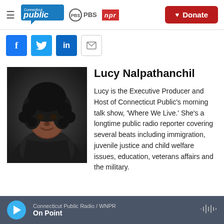Connecticut Public | PBS | NPR — Donate
[Figure (other): Social sharing icons: Facebook, Twitter, LinkedIn, Email]
[Figure (photo): Professional headshot of Lucy Nalpathanchil wearing black clothing against a dark background]
Lucy Nalpathanchil
Lucy is the Executive Producer and Host of Connecticut Public's morning talk show, 'Where We Live.' She's a longtime public radio reporter covering several beats including immigration, juvenile justice and child welfare issues, education, veterans affairs and the military.
Connecticut Public Radio / WNPR — On Point